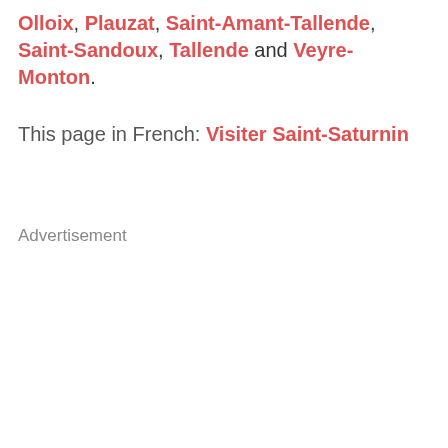Olloix, Plauzat, Saint-Amant-Tallende, Saint-Sandoux, Tallende and Veyre-Monton.
This page in French: Visiter Saint-Saturnin
Advertisement